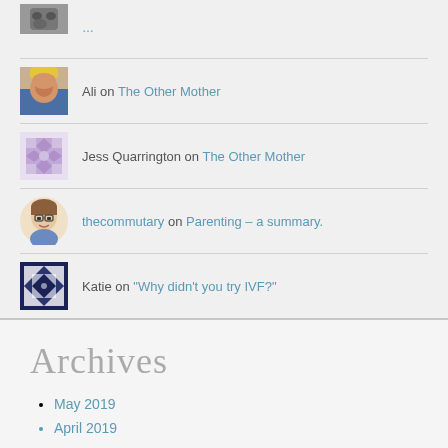Ali on The Other Mother
Jess Quarrington on The Other Mother
thecommutary on Parenting – a summary.
Katie on "Why didn't you try IVF?"
Archives
May 2019
April 2019